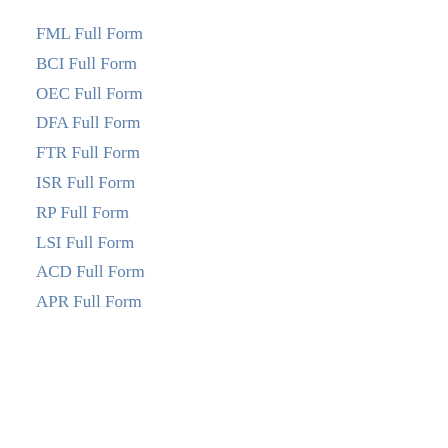FML Full Form
BCI Full Form
OEC Full Form
DFA Full Form
FTR Full Form
ISR Full Form
RP Full Form
LSI Full Form
ACD Full Form
APR Full Form